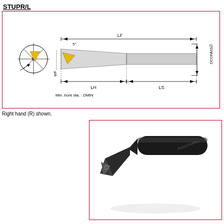STUPR/L
[Figure (engineering-diagram): Technical drawing of STUPR/L boring bar tool showing cross-section view and side profile with dimension labels: LF (total length), LH (head length), LS (shank length), WF (width), DCONMS (shank diameter), minimum bore diameter DMIN, and 5 degree lead angle. End face view shows triangular insert positioning.]
Right hand (R) shown.
[Figure (photo): Photograph of S1212-STUPR11 boring bar tool with black shank and triangular carbide insert at the tip, shown diagonally on white background.]